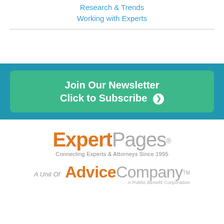Research & Trends
Working with Experts
[Figure (other): Join Our Newsletter / Click to Subscribe button with arrow in teal banner]
[Figure (logo): ExpertPages logo - Connecting Experts & Attorneys Since 1995]
A Unit Of
[Figure (logo): Advice Company logo - A Public Benefit Corporation TM]